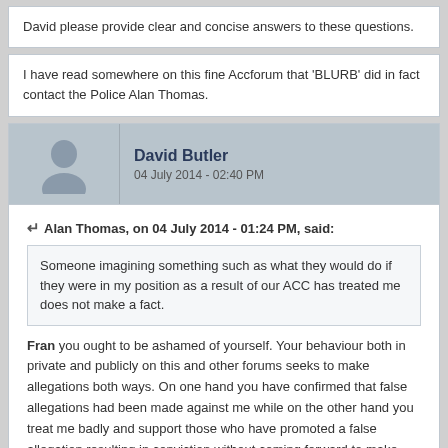David please provide clear and concise answers to these questions.
I have read somewhere on this fine Accforum that 'BLURB' did in fact contact the Police Alan Thomas.
David Butler
04 July 2014 - 02:40 PM
Alan Thomas, on 04 July 2014 - 01:24 PM, said:
Someone imagining something such as what they would do if they were in my position as a result of our ACC has treated me does not make a fact.
Fran you ought to be ashamed of yourself. Your behaviour both in private and publicly on this and other forums seeks to make allegations both ways. On one hand you have confirmed that false allegations had been made against me while on the other hand you treat me badly and support those who have promoted a false allegation resulting in conviction without coming forward to make yourself available to the police as David Butler attempted to do. Your behaviour is cowardly.